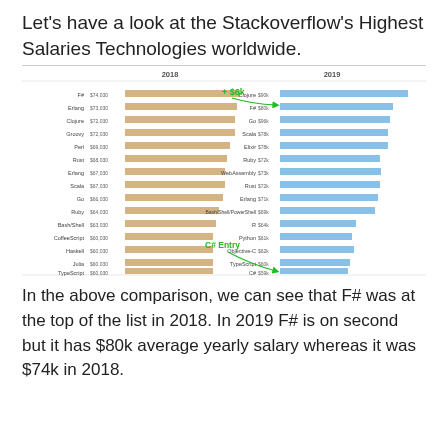Let's have a look at the Stackoverflow's Highest Salaries Technologies worldwide.
[Figure (grouped-bar-chart): Stackoverflow Highest Salaries Technologies 2018 vs 2019]
In the above comparison, we can see that F# was at the top of the list in 2018. In 2019 F# is on second but it has $80k average yearly salary whereas it was $74k in 2018.